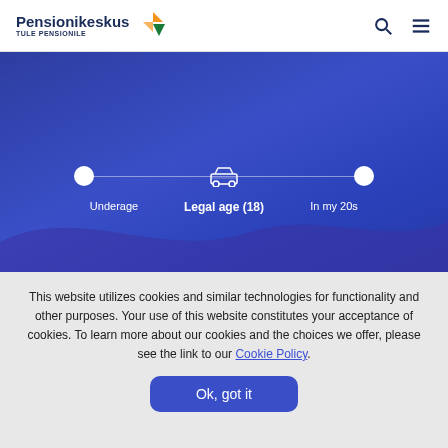Pensionikeskus — TULE PENSIONILE
[Figure (infographic): Blue banner with a timeline showing three life stages: Underage (dot), Legal age (18) (car icon, active), In my 20s (dot). A wave shape decorates the lower portion of the banner.]
Underage   Legal age (18)   In my 20s
This website utilizes cookies and similar technologies for functionality and other purposes. Your use of this website constitutes your acceptance of cookies. To learn more about our cookies and the choices we offer, please see the link to our Cookie Policy.
Ok, got it